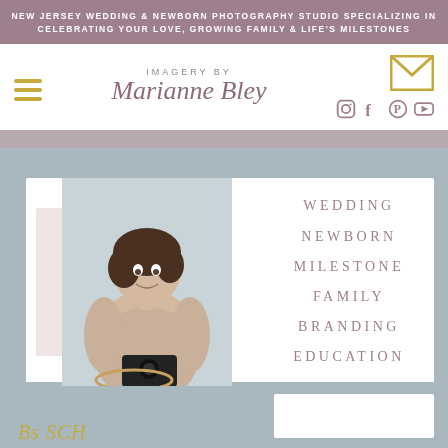NEW JERSEY WEDDING & NEWBORN PHOTOGRAPHY STUDIO SPECIALIZING IN CELEBRATING YOUR LOVE, GROWING FAMILY & LIFE'S MILESTONES
[Figure (logo): Imagery by Marianne Bley script logo with hamburger menu icon on left and envelope/social icons on right]
[Figure (photo): Portrait of photographer Marianne Bley smiling, holding a camera, leaning on a round prop]
WEDDING
NEWBORN
MILESTONE
FAMILY
BRANDING
EDUCATION